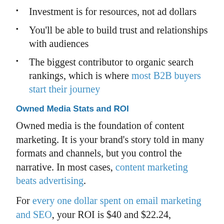Investment is for resources, not ad dollars
You'll be able to build trust and relationships with audiences
The biggest contributor to organic search rankings, which is where most B2B buyers start their journey
Owned Media Stats and ROI
Owned media is the foundation of content marketing. It is your brand's story told in many formats and channels, but you control the narrative. In most cases, content marketing beats advertising.
For every one dollar spent on email marketing and SEO, your ROI is $40 and $22.24, respectively. You'll see below, these owned